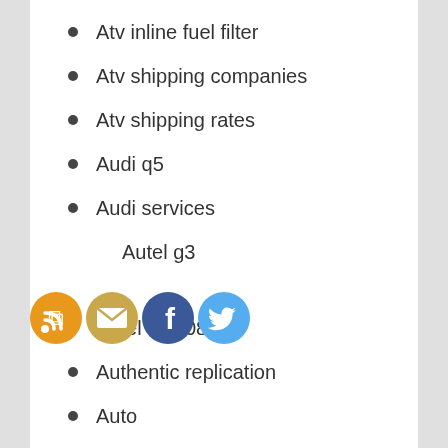Atv inline fuel filter
Atv shipping companies
Atv shipping rates
Audi q5
Audi services
Autel g3
Autel ms908p
Authentic replication
Auto
Auto auction software
Auto auctions nashville
Auto body repair